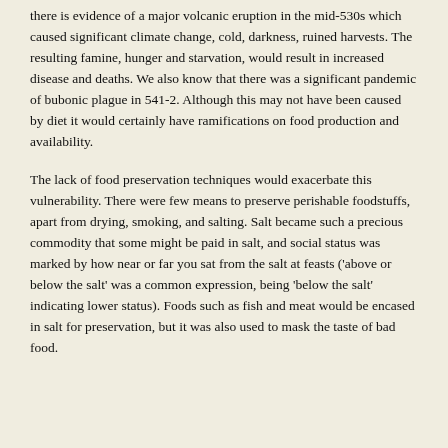there is evidence of a major volcanic eruption in the mid-530s which caused significant climate change, cold, darkness, ruined harvests. The resulting famine, hunger and starvation, would result in increased disease and deaths. We also know that there was a significant pandemic of bubonic plague in 541-2. Although this may not have been caused by diet it would certainly have ramifications on food production and availability.
The lack of food preservation techniques would exacerbate this vulnerability. There were few means to preserve perishable foodstuffs, apart from drying, smoking, and salting. Salt became such a precious commodity that some might be paid in salt, and social status was marked by how near or far you sat from the salt at feasts ('above or below the salt' was a common expression, being 'below the salt' indicating lower status). Foods such as fish and meat would be encased in salt for preservation, but it was also used to mask the taste of bad food.